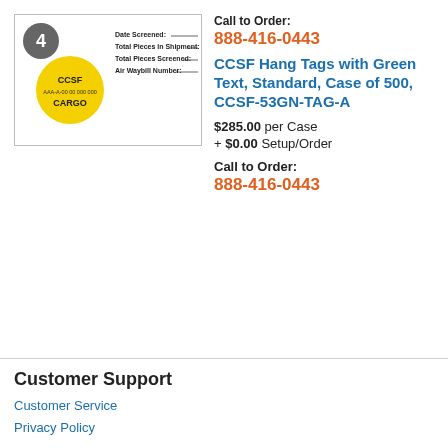Call to Order:
888-416-0443
[Figure (illustration): Product hang tag image showing a CCSF cargo label with yellow circle, number 4 in grey circle, fields for Date Screened, Total Pieces in Shipment, Total Pieces Screened, Air Waybill Number, and green descriptive text about shrink-wrapped skid screening.]
CCSF Hang Tags with Green Text, Standard, Case of 500, CCSF-53GN-TAG-A
$285.00 per Case
+ $0.00 Setup/Order
Call to Order:
888-416-0443
Customer Support
Customer Service
Privacy Policy